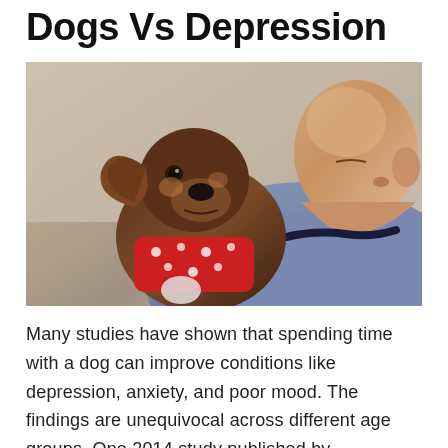Dogs Vs Depression
[Figure (photo): A bald middle-aged man holding a small brown and tan dachshund-mix dog wearing a red and white patterned sweater. The man is looking closely at the dog, which is looking back at him. Indoor background with beige wall.]
Many studies have shown that spending time with a dog can improve conditions like depression, anxiety, and poor mood. The findings are unequivocal across different age groups. One 2014 study published by